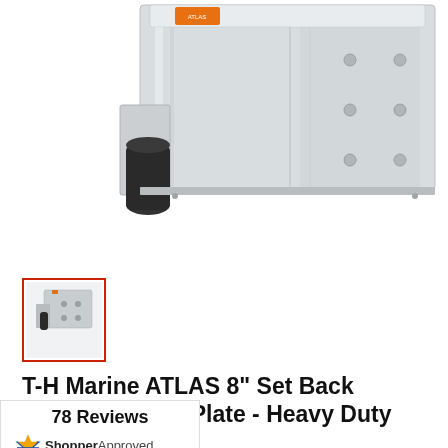[Figure (photo): Product photo of T-H Marine ATLAS 8 inch Set Back Hydraulic Jack Plate, showing stainless steel jack plate hardware from a side/angled view against white background]
[Figure (photo): Small thumbnail image of T-H Marine ATLAS hydraulic jack plate product, selected with red border]
T-H Marine ATLAS 8" Set Back Hydraulic Jack Plate - Heavy Duty [AHJ-8VHD-DP]
T-H MARINE SUPPLIES
78 Reviews
[Figure (logo): ShopperApproved logo with star icon]